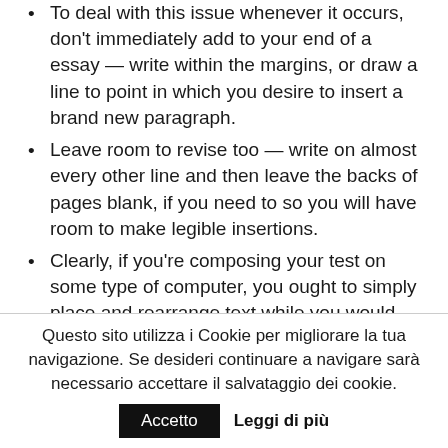To deal with this issue whenever it occurs, don't immediately add to your end of a essay — write within the margins, or draw a line to point in which you desire to insert a brand new paragraph.
Leave room to revise too — write on almost every other line and then leave the backs of pages blank, if you need to so you will have room to make legible insertions.
Clearly, if you're composing your test on some type of computer, you ought to simply place and rearrange text while you would ordinarily.
5) REVISE YOUR THESIS STATEMENT
Questo sito utilizza i Cookie per migliorare la tua navigazione. Se desideri continuare a navigare sarà necessario accettare il salvataggio dei cookie.